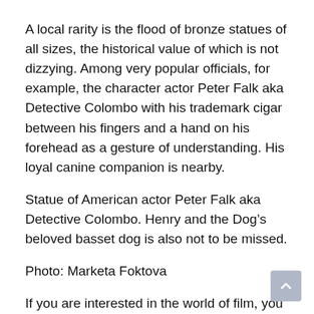A local rarity is the flood of bronze statues of all sizes, the historical value of which is not dizzying. Among very popular officials, for example, the character actor Peter Falk aka Detective Colombo with his trademark cigar between his fingers and a hand on his forehead as a gesture of understanding. His loyal canine companion is nearby.
Statue of American actor Peter Falk aka Detective Colombo. Henry and the Dog’s beloved basset dog is also not to be missed.
Photo: Marketa Foktova
If you are interested in the world of film, you will also stop by Bud Spencer whose depiction is very masculine. A fat, motionless cop whose big belly spoke of delicious Hungarian cuisine, also seemed like a nice guy. You will meet him on your way to the basilica. Before the opera, you will find yourself at the front. On the other hand, the matter...